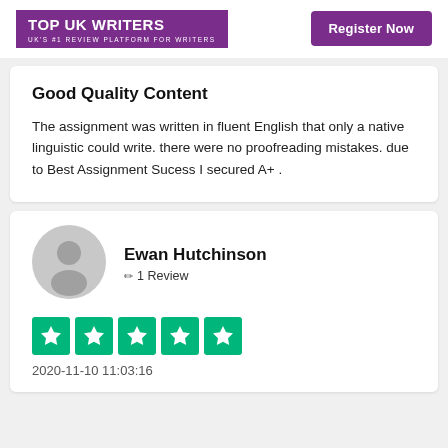TOP UK WRITERS | UK'S #1 REVIEW PLATFORM FOR WRITERS | Register Now
Good Quality Content
The assignment was written in fluent English that only a native linguistic could write. there were no proofreading mistakes. due to Best Assignment Sucess I secured A+ .
Ewan Hutchinson
✏ 1 Review
[Figure (other): Five green Trustpilot stars rating]
2020-11-10 11:03:16